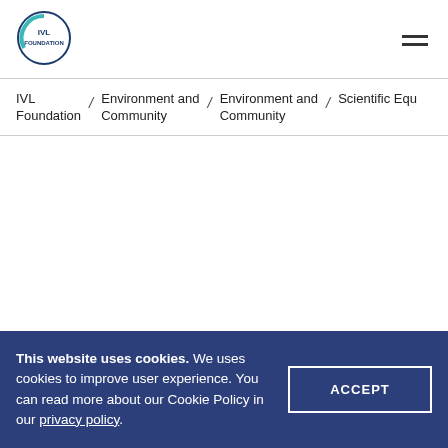[Figure (logo): IVL Foundation circular logo with blue and teal design]
IVL Foundation / Environment and Community / Environment and Community / Scientific Equ
This website uses cookies. We uses cookies to improve user experience. You can read more about our Cookie Policy in our privacy policy.
ACCEPT